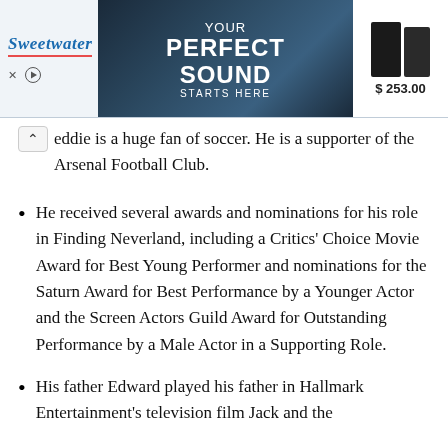[Figure (other): Sweetwater advertisement banner showing 'YOUR PERFECT SOUND STARTS HERE' with a musician playing guitar and two studio monitor speakers priced at $253.00]
eddie is a huge fan of soccer. He is a supporter of the Arsenal Football Club.
He received several awards and nominations for his role in Finding Neverland, including a Critics' Choice Movie Award for Best Young Performer and nominations for the Saturn Award for Best Performance by a Younger Actor and the Screen Actors Guild Award for Outstanding Performance by a Male Actor in a Supporting Role.
His father Edward played his father in Hallmark Entertainment's television film Jack and the